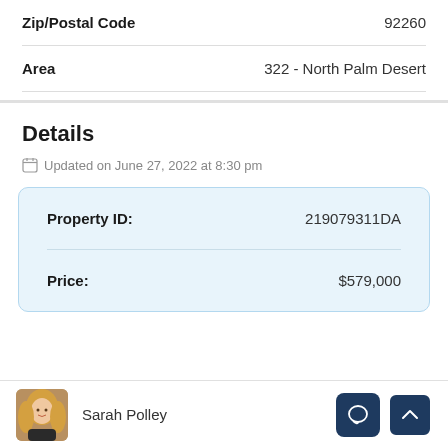Zip/Postal Code: 92260
Area: 322 - North Palm Desert
Details
Updated on June 27, 2022 at 8:30 pm
| Field | Value |
| --- | --- |
| Property ID: | 219079311DA |
| Price: | $579,000 |
Sarah Polley